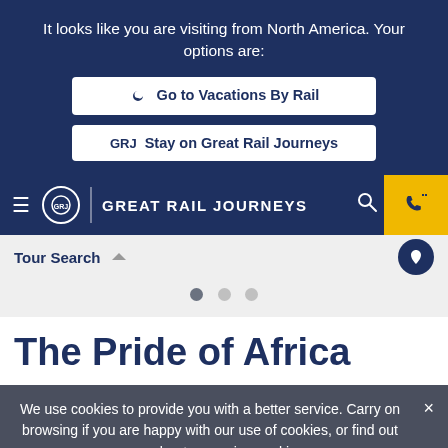It looks like you are visiting from North America. Your options are:
Go to Vacations By Rail
Stay on Great Rail Journeys
GREAT RAIL JOURNEYS
Tour Search
The Pride of Africa
We use cookies to provide you with a better service. Carry on browsing if you are happy with our use of cookies, or find out more about managing cookies